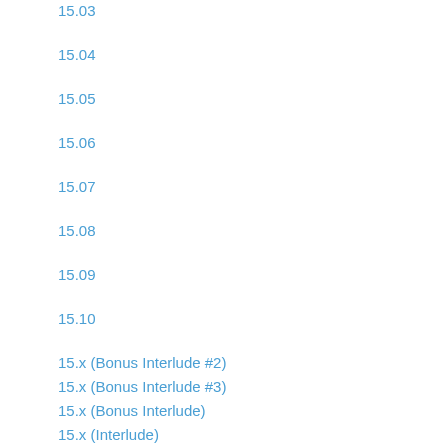15.03
15.04
15.05
15.06
15.07
15.08
15.09
15.10
15.x (Bonus Interlude #2)
15.x (Bonus Interlude #3)
15.x (Bonus Interlude)
15.x (Interlude)
Arc 16 (Monarch)
16.01
16.02
16.03
16.04
16.05
16.06
16.07